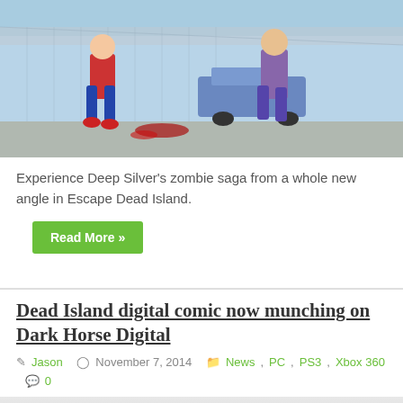[Figure (screenshot): Game screenshot from Escape Dead Island showing animated characters in a colorful cel-shaded style street scene with a chain-link fence, cars, and zombie characters]
Experience Deep Silver's zombie saga from a whole new angle in Escape Dead Island.
Read More »
Dead Island digital comic now munching on Dark Horse Digital
Jason  November 7, 2014  News, PC, PS3, Xbox 360  0
[Figure (screenshot): Image showing the word ESCAPE in large red distressed letters on a light background, appears to be promotional artwork for Escape Dead Island]